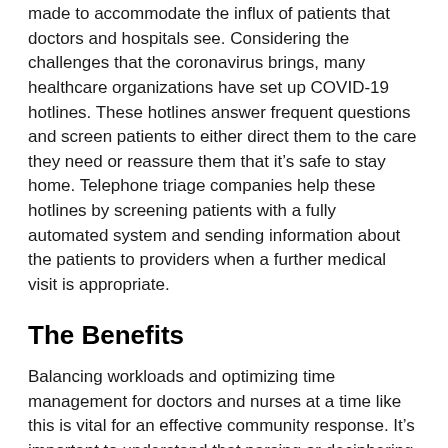made to accommodate the influx of patients that doctors and hospitals see. Considering the challenges that the coronavirus brings, many healthcare organizations have set up COVID-19 hotlines. These hotlines answer frequent questions and screen patients to either direct them to the care they need or reassure them that it's safe to stay home. Telephone triage companies help these hotlines by screening patients with a fully automated system and sending information about the patients to providers when a further medical visit is appropriate.
The Benefits
Balancing workloads and optimizing time management for doctors and nurses at a time like this is vital for an effective community response. It's important to understand that parsing or deciphering between sick patients and those who just need reassurance is a big part of navigating this pandemic successfully. Because of this, cities, counties, and states need the ability to manage the healthcare capabilities at their...